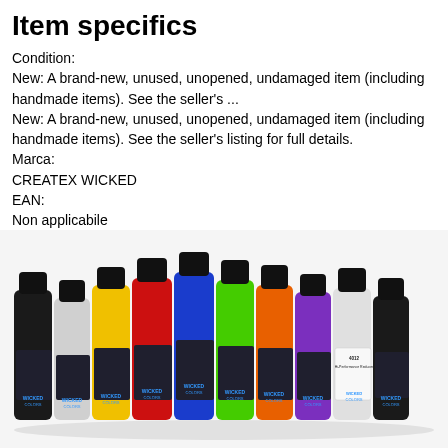Item specifics
Condition:
New: A brand-new, unused, unopened, undamaged item (including handmade items). See the seller's ...
New: A brand-new, unused, unopened, undamaged item (including handmade items). See the seller's listing for full details.
Marca:
CREATEX WICKED
EAN:
Non applicabile
[Figure (photo): Ten small paint bottles of Wicked Colors multi-surface airbrush paint in various colors (black, white, yellow, red, blue, green, orange, purple, and two more), with black caps, arranged in a row on a white background.]